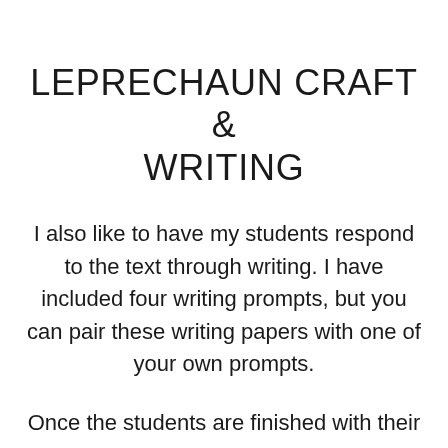LEPRECHAUN CRAFT & WRITING
I also like to have my students respond to the text through writing. I have included four writing prompts, but you can pair these writing papers with one of your own prompts.
Once the students are finished with their